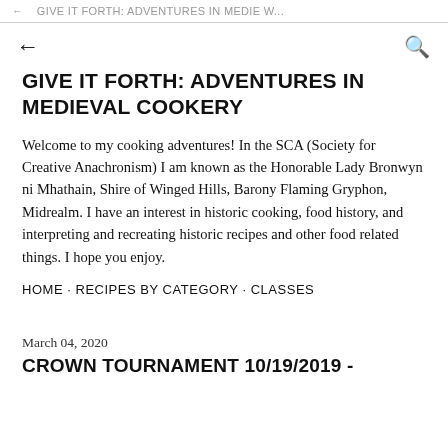GIVE IT FORTH: ADVENTURES IN MEDIE W...
GIVE IT FORTH: ADVENTURES IN MEDIEVAL COOKERY
Welcome to my cooking adventures! In the SCA (Society for Creative Anachronism) I am known as the Honorable Lady Bronwyn ni Mhathain, Shire of Winged Hills, Barony Flaming Gryphon, Midrealm. I have an interest in historic cooking, food history, and interpreting and recreating historic recipes and other food related things. I hope you enjoy.
HOME · RECIPES BY CATEGORY · CLASSES
March 04, 2020
CROWN TOURNAMENT 10/19/2019 -